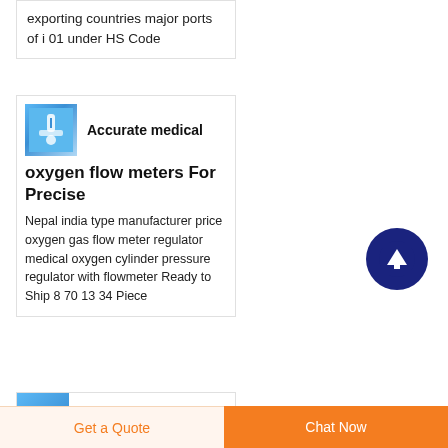exporting countries major ports of i 01 under HS Code
[Figure (photo): Blue product thumbnail image of medical oxygen flow meter]
Accurate medical oxygen flow meters For Precise
Nepal india type manufacturer price oxygen gas flow meter regulator medical oxygen cylinder pressure regulator with flowmeter Ready to Ship 8 70 13 34 Piece
[Figure (other): Dark navy blue circular scroll-to-top button with upward arrow icon]
Get a Quote
Chat Now